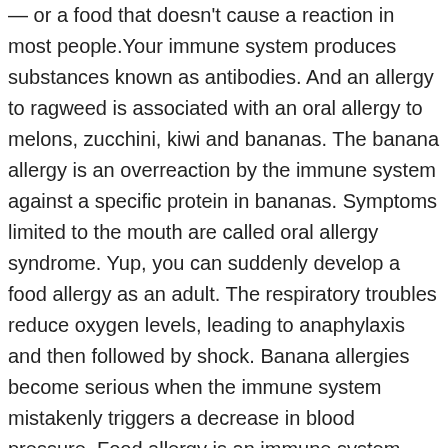— or a food that doesn't cause a reaction in most people.Your immune system produces substances known as antibodies. And an allergy to ragweed is associated with an oral allergy to melons, zucchini, kiwi and bananas. The banana allergy is an overreaction by the immune system against a specific protein in bananas. Symptoms limited to the mouth are called oral allergy syndrome. Yup, you can suddenly develop a food allergy as an adult. The respiratory troubles reduce oxygen levels, leading to anaphylaxis and then followed by shock. Banana allergies become serious when the immune system mistakenly triggers a decrease in blood pressure. Food allergy is an immune system reaction that occurs soon after eating a certain food. Bananas don't cause stomach aches in everyone. arctic-hands. I developed a sudden banana intolerance over 8 months ago (or at least that's when I managed to identify the cause of my stomach cramps and bloating) I looked online and found that a lot of people have developed sudden intolerances but found that they could still eat cooked banana and